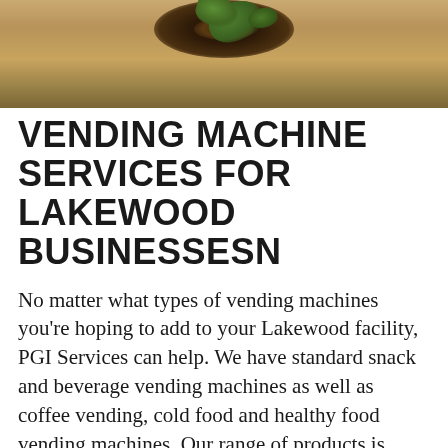[Figure (photo): Photo of tea leaves or herbs on a wooden surface with green mint or herb leaves, cropped at top of page]
VENDING MACHINE SERVICES FOR LAKEWOOD BUSINESSESN
No matter what types of vending machines you’re hoping to add to your Lakewood facility, PGI Services can help. We have standard snack and beverage vending machines as well as coffee vending, cold food and healthy food vending machines. Our range of products is unmatched, and we’re willing to cater to special item requests.